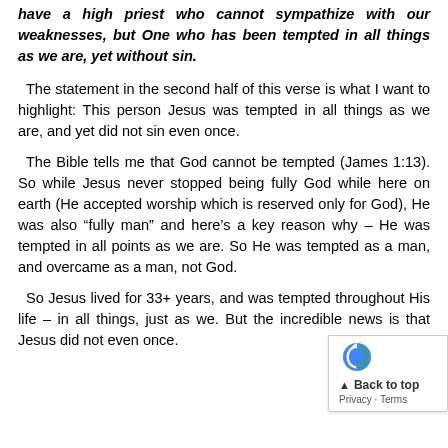have a high priest who cannot sympathize with our weaknesses, but One who has been tempted in all things as we are, yet without sin.
The statement in the second half of this verse is what I want to highlight: This person Jesus was tempted in all things as we are, and yet did not sin even once.
The Bible tells me that God cannot be tempted (James 1:13). So while Jesus never stopped being fully God while here on earth (He accepted worship which is reserved only for God), He was also “fully man” and here’s a key reason why – He was tempted in all points as we are. So He was tempted as a man, and overcame as a man, not God.
So Jesus lived for 33+ years, and was tempted throughout His life – in all things, just as we. But the incredible news is that Jesus did not even once.